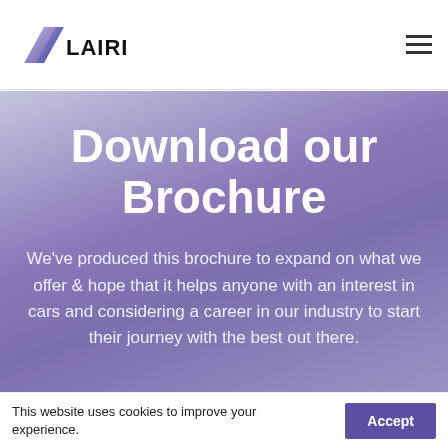LAIRD [logo] [hamburger menu]
Download our Brochure
We've produced this brochure to expand on what we offer & hope that it helps anyone with an interest in cars and considering a career in our industry to start their journey with the best out there.
This website uses cookies to improve your experience. Accept